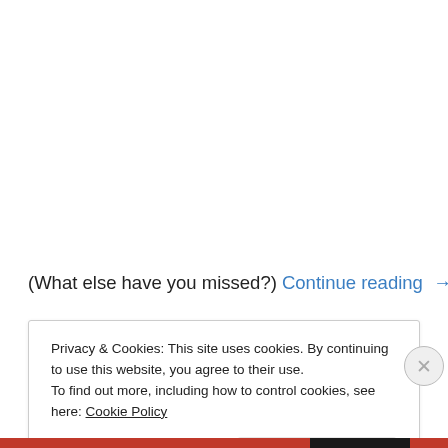(What else have you missed?) Continue reading →
Privacy & Cookies: This site uses cookies. By continuing to use this website, you agree to their use.
To find out more, including how to control cookies, see here: Cookie Policy
Close and accept